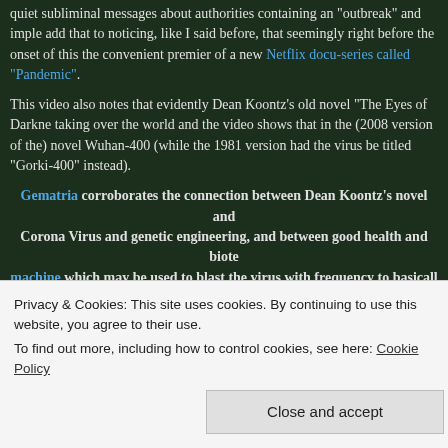quiet subliminal messages about authorities containing an "outbreak" and implementing... add that to noticing, like I said before, that seemingly right before the onset of this... the convenient premier of a new Netflix docu-series called "Pandemic".
This video also notes that evidently Dean Koontz's old novel "The Eyes of Darkness" taking over the world and the video shows that in the (2008 version of the) novel the virus be titled Wuhan-400 (while the 1981 version had the virus be titled "Gorki-400" instead).
Gematria corroborates the connection between Dean Koontz's novel and Corona Virus and genetic engineering, and between good health and biote machine which may be used to blast the virus with frequency to basically opera singer breaks a wine glass):
This novel was also discussed on a recent Jeff Rense radio show episode, Yoichi Shimatsu – Remote Viewing The Corona Virus" [2/21/2020].
Privacy & Cookies: This site uses cookies. By continuing to use this website, you agree to their use. To find out more, including how to control cookies, see here: Cookie Policy